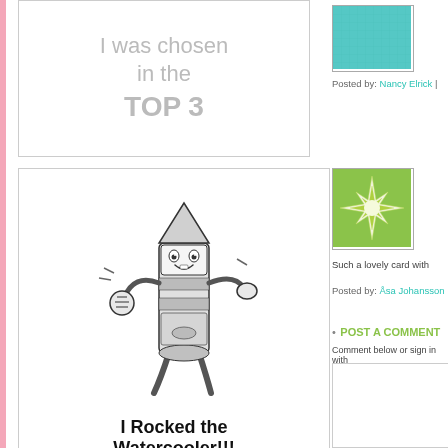[Figure (illustration): Top 3 badge with text 'I was chosen in the TOP 3']
[Figure (illustration): Thumbnail of teal/blue textured card image]
Fun card. Thanks for p...
Posted by: Nancy Elrick | ...
[Figure (illustration): I Rocked the Watercooler badge with cartoon crayon character]
[Figure (illustration): Thumbnail of green starburst/flower pattern]
Such a lovely card with ...
Posted by: Åsa Johansson
POST A COMMENT
Comment below or sign in with
[Figure (illustration): Seize the Birthday - Birthday Honours badge with paper flowers]